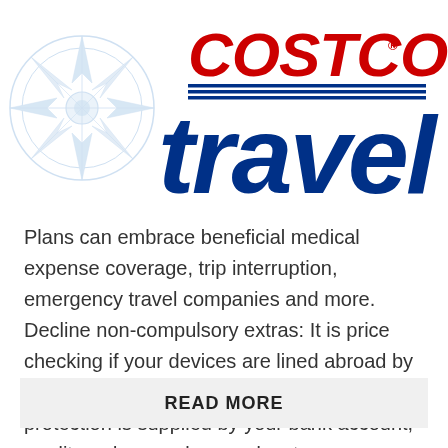[Figure (logo): Costco Travel logo with compass rose graphic on the left and red COSTCO text with blue 'travel' text on the right]
Plans can embrace beneficial medical expense coverage, trip interruption, emergency travel companies and more. Decline non-compulsory extras: It is price checking if your devices are lined abroad by your house insurance coverage, or if protection is supplied by your bank account, credit card or employee advantages ...
READ MORE